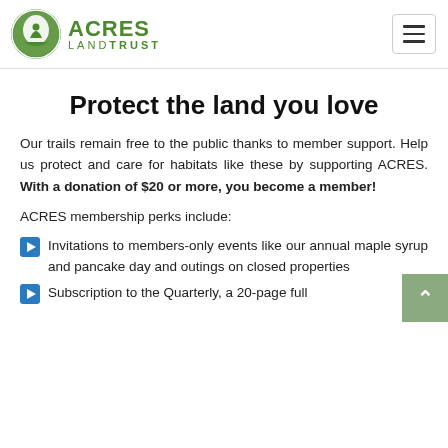ACRES LAND TRUST
Protect the land you love
Our trails remain free to the public thanks to member support. Help us protect and care for habitats like these by supporting ACRES. With a donation of $20 or more, you become a member!
ACRES membership perks include:
Invitations to members-only events like our annual maple syrup and pancake day and outings on closed properties
Subscription to the Quarterly, a 20-page full